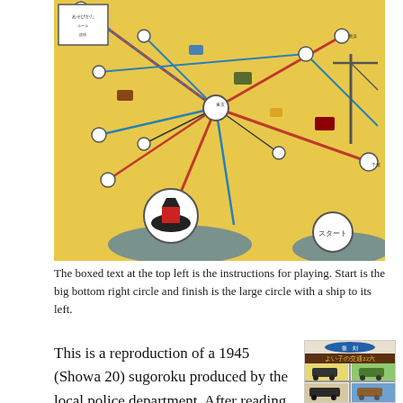[Figure (map): A colorful Japanese sugoroku (board game) map on yellow background with illustrated landmarks, transportation routes (red and blue lines), circular station markers, and Japanese text labels across the map. A large ship illustration and circular elements appear in the lower center. The map depicts a transit/route network game board.]
The boxed text at the top left is the instructions for playing. Start is the big bottom right circle and finish is the large circle with a ship to its left.
This is a reproduction of a 1945 (Showa 20) sugoroku produced by the local police department. After reading about sugoroku, the date took me by surprise. According to
[Figure (photo): A photo of a Japanese sugoroku game book/pamphlet cover showing colored panels with illustrated vehicles (cars, trucks) in yellow, green, and blue sections, with Japanese text reading 復刻 (reproduction) and よい子の交通22六 (Children's Traffic Sugoroku).]